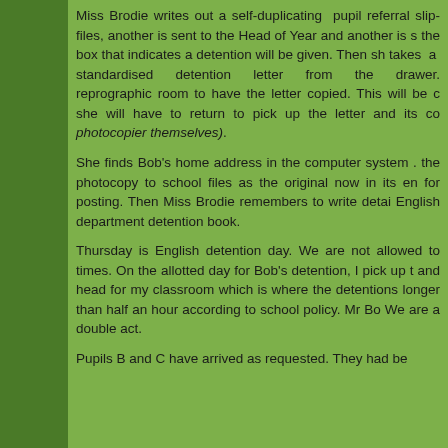Miss Brodie writes out a self-duplicating pupil referral slip: one copy files, another is sent to the Head of Year and another is s the box that indicates a detention will be given. Then sh takes a standardised detention letter from the drawer. reprographic room to have the letter copied. This will be c she will have to return to pick up the letter and its co photocopier themselves).
She finds Bob's home address in the computer system the photocopy to school files as the original now in its en for posting. Then Miss Brodie remembers to write detai English department detention book.
Thursday is English detention day. We are not allowed to times. On the allotted day for Bob's detention, I pick up t and head for my classroom which is where the detentions longer than half an hour according to school policy. Mr Bo We are a double act.
Pupils B and C have arrived as requested. They had be